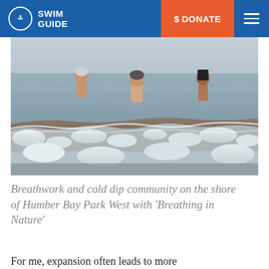SWIM GUIDE | $ DONATE
[Figure (photo): Three people standing in cold water up to their chests near a shore with ice and waves in the foreground. The scene is at Humber Bay Park West.]
Breathwork and cold dip community on the shore of Humber Bay Park West with ‘Breathing in Nature’
For me, expansion often leads to more